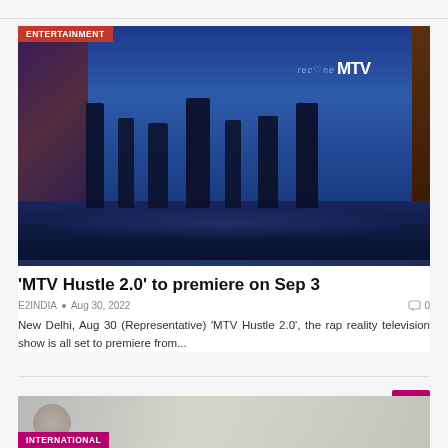[Figure (photo): Group photo of MTV Hustle 2.0 cast and crew on a decorated stage with blue backdrop, MTV logo visible, with ENTERTAINMENT category tag overlay]
'MTV Hustle 2.0' to premiere on Sep 3
E2INDIA • Aug 30, 2022  0
New Delhi, Aug 30 (Representative) 'MTV Hustle 2.0', the rap reality television show is all set to premiere from...
[Figure (photo): Partial view of next article image with INTERNATIONAL category tag]
INTERNATIONAL